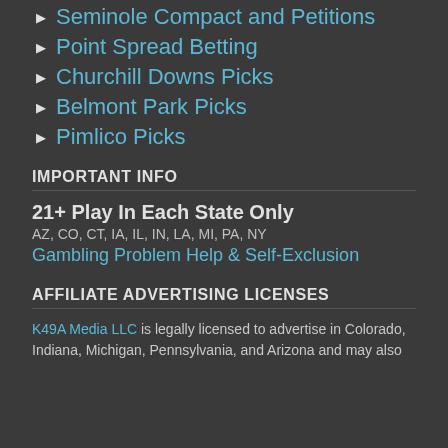Seminole Compact and Petitions
Point Spread Betting
Churchill Downs Picks
Belmont Park Picks
Pimlico Picks
IMPORTANT INFO
21+ Play In Each State Only
AZ, CO, CT, IA, IL, IN, LA, MI, PA, NY
Gambling Problem Help & Self-Exclusion
AFFILIATE ADVERTISING LICENSES
K49A Media LLC is legally licensed to advertise in Colorado, Indiana, Michigan, Pennsylvania, and Arizona and may also